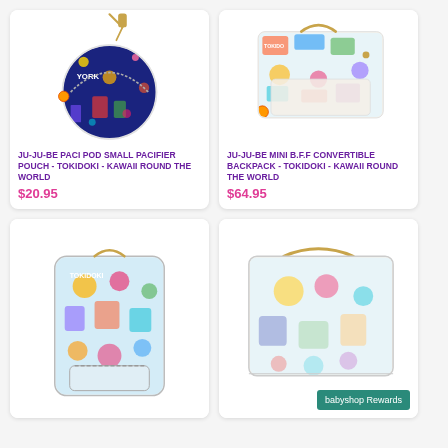[Figure (photo): Ju-Ju-Be Paci Pod small pacifier pouch with tokidoki kawaii round the world print - circular coin purse with gold chain]
JU-JU-BE PACI POD SMALL PACIFIER POUCH - TOKIDOKI - KAWAII ROUND THE WORLD
$20.95
[Figure (photo): Ju-Ju-Be Mini B.F.F convertible backpack with tokidoki kawaii round the world print - colorful travel-themed bag]
JU-JU-BE MINI B.F.F CONVERTIBLE BACKPACK - TOKIDOKI - KAWAII ROUND THE WORLD
$64.95
[Figure (photo): Ju-Ju-Be backpack with tokidoki kawaii round the world print - colorful character-themed backpack]
[Figure (photo): Ju-Ju-Be bag with tokidoki kawaii round the world print - colorful messenger or tote bag with single strap]
babyshop Rewards